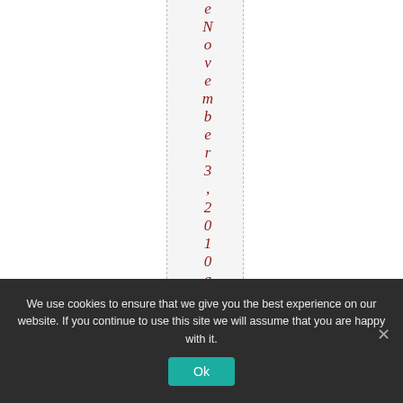eNovember 3, 2010 at 1
We use cookies to ensure that we give you the best experience on our website. If you continue to use this site we will assume that you are happy with it. Ok